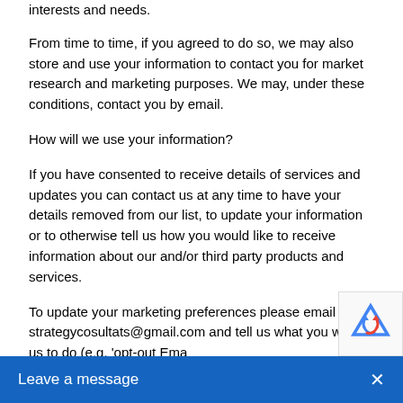interests and needs.
From time to time, if you agreed to do so, we may also store and use your information to contact you for market research and marketing purposes. We may, under these conditions, contact you by email.
How will we use your information?
If you have consented to receive details of services and updates you can contact us at any time to have your details removed from our list, to update your information or to otherwise tell us how you would like to receive information about our and/or third party products and services.
To update your marketing preferences please email strategycosultats@gmail.com and tell us what you want us to do (e.g. 'opt-out Ema…